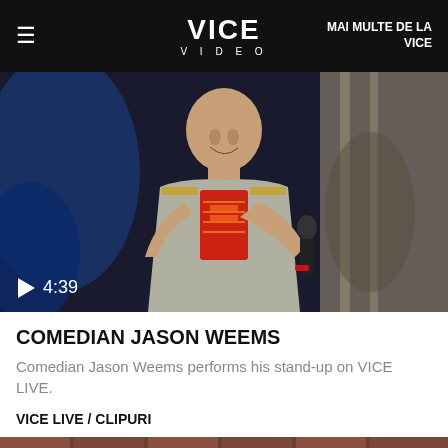VICE VIDEO | MAI MULTE DE LA VICE
[Figure (photo): Video thumbnail showing comedian Jason Weems performing stand-up on stage, holding a microphone, wearing a grey embroidered shirt. Play button and duration '4:39' shown at bottom left.]
COMEDIAN JASON WEEMS
Comedian Jason Weems performs his stand-up on VICE LIVE.
VICE LIVE / CLIPURI
[Figure (photo): Partial thumbnail showing a brick wall background with a performer on stage.]